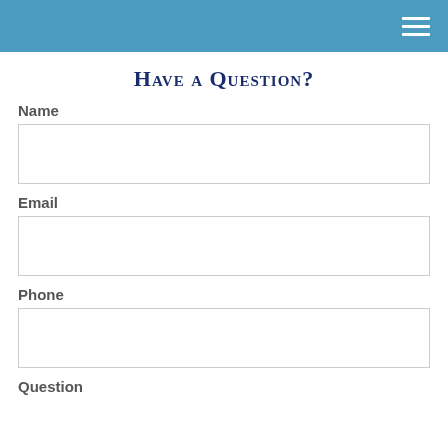Have a Question?
Name
Email
Phone
Question